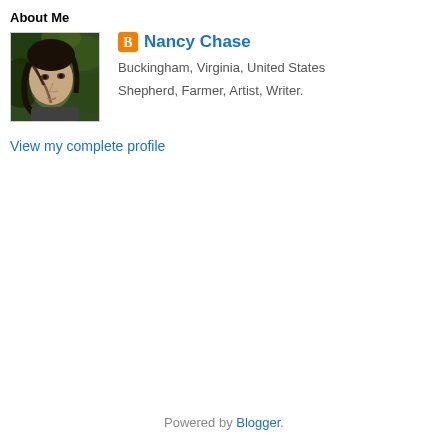About Me
[Figure (photo): Profile photo of Nancy Chase, a person with dark hair photographed against a green leafy background]
Nancy Chase
Buckingham, Virginia, United States
Shepherd, Farmer, Artist, Writer.
View my complete profile
Powered by Blogger.